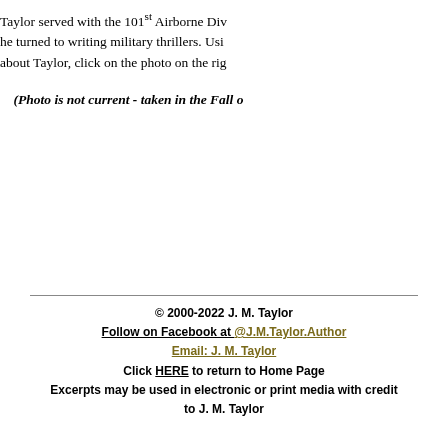Taylor served with the 101st Airborne Division. After his service, he turned to writing military thrillers. Using his experiences about Taylor, click on the photo on the right
(Photo is not current - taken in the Fall of
© 2000-2022 J. M. Taylor
Follow on Facebook at @J.M.Taylor.Author
Email: J. M. Taylor
Click HERE to return to Home Page
Excerpts may be used in electronic or print media with credit to J. M. Taylor